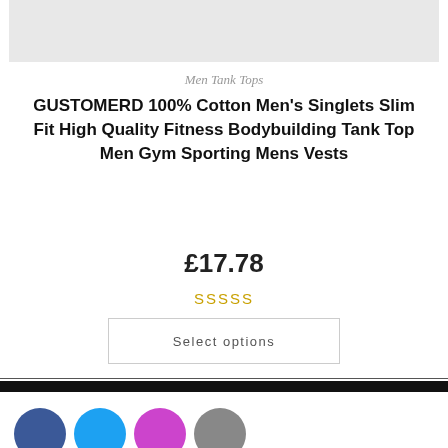[Figure (photo): Product image placeholder (light grey rectangle)]
Men Tank Tops
GUSTOMERD 100% Cotton Men's Singlets Slim Fit High Quality Fitness Bodybuilding Tank Top Men Gym Sporting Mens Vests
£17.78
SSSSS
Select options
[Figure (illustration): Social media icon circles: Facebook (dark blue), Twitter (light blue), Pinterest (purple), grey circle]